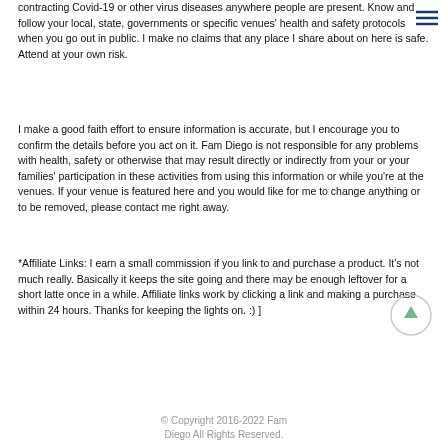contracting Covid-19 or other virus diseases anywhere people are present. Know and follow your local, state, governments or specific venues' health and safety protocols when you go out in public. I make no claims that any place I share about on here is safe. Attend at your own risk.
I make a good faith effort to ensure information is accurate, but I encourage you to confirm the details before you act on it. Fam Diego is not responsible for any problems with health, safety or otherwise that may result directly or indirectly from your or your families' participation in these activities from using this information or while you're at the venues. If your venue is featured here and you would like for me to change anything or to be removed, please contact me right away.
*Affiliate Links: I earn a small commission if you link to and purchase a product. It's not much really. Basically it keeps the site going and there may be enough leftover for a short latte once in a while. Affiliate links work by clicking a link and making a purchase within 24 hours. Thanks for keeping the lights on. :) ]
© Copyright 2016-2022 Fam Diego All Rights Reserved.